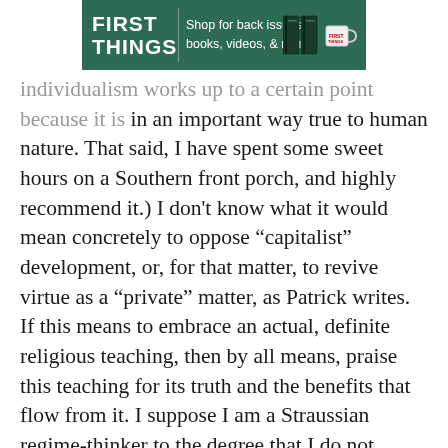[Figure (other): First Things advertisement banner: green background with 'FIRST THINGS' text on left, 'Shop for back issues, books, videos, & more.' in center, and icons of books and a mug on the right.]
individualism works up to a certain point because it is in an important way true to human nature. That said, I have spent some sweet hours on a Southern front porch, and highly recommend it.) I don't know what it would mean concretely to oppose “capitalist” development, or, for that matter, to revive virtue as a “private” matter, as Patrick writes. If this means to embrace an actual, definite religious teaching, then by all means, praise this teaching for its truth and the benefits that flow from it. I suppose I am a Straussian regime-thinker to the degree that I do not believe the private things can be saved without the public, that is, without influencing the national debate in such a way as to preserve or open up the political-intellectual spaces necessary to defend and cultivate virtue.